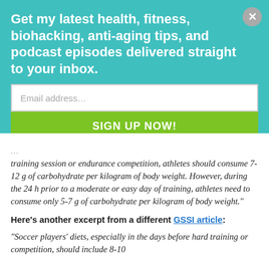Get my latest health, fitness, biohacking, anti-aging tips, and podcast episodes delivered straight to your inbox.
Email address...
SIGN UP NOW!
training session or endurance competition, athletes should consume 7-12 g of carbohydrate per kilogram of body weight. However, during the 24 h prior to a moderate or easy day of training, athletes need to consume only 5-7 g of carbohydrate per kilogram of body weight.”
Here’s another excerpt from a different GSSI article:
“Soccer players’ diets, especially in the days before hard training or competition, should include 8-10